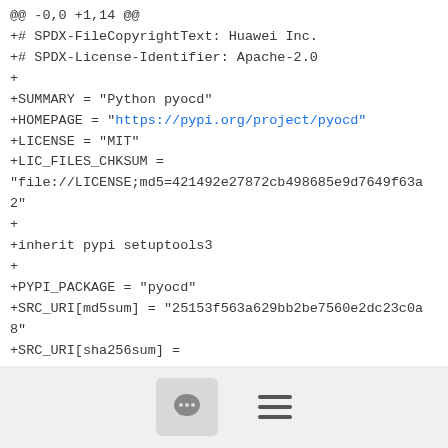@@ -0,0 +1,14 @@
+# SPDX-FileCopyrightText: Huawei Inc.
+# SPDX-License-Identifier: Apache-2.0
+
+SUMMARY = "Python pyocd"
+HOMEPAGE = "https://pypi.org/project/pyocd"
+LICENSE = "MIT"
+LIC_FILES_CHKSUM =
"file://LICENSE;md5=421492e27872cb498685e9d7649f63a2"
+
+inherit pypi setuptools3
+
+PYPI_PACKAGE = "pyocd"
+SRC_URI[md5sum] = "25153f563a629bb2be7560e2dc23c0a8"
+SRC_URI[sha256sum] =
"d5aa498130f251373ac50724be73dc2f8cf60b03c9547bddf3c140fa6555ead1"
+BBCLASSEXTEND = "native nativesdk"
diff --git a/meta-zephyr-core/recipes-devtools/python/python3-pymerging_0.4.7.bb b/meta-zephyr-core/recipes-